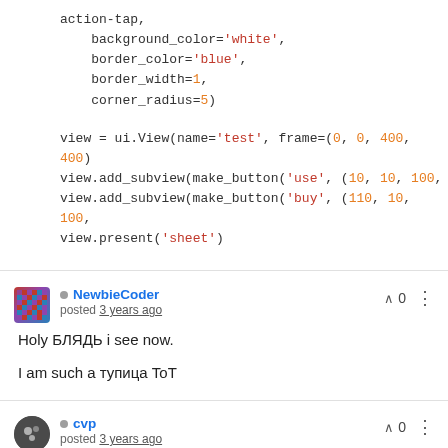action-tap,
    background_color='white',
    border_color='blue',
    border_width=1,
    corner_radius=5)

view = ui.View(name='test', frame=(0, 0, 400, 400)
view.add_subview(make_button('use', (10, 10, 100, ...
view.add_subview(make_button('buy', (110, 10, 100, ...
view.present('sheet')
NewbieCoder
posted 3 years ago
Holy БЛЯДЬ i see now.
I am such a тупица ToT
cvp
posted 3 years ago